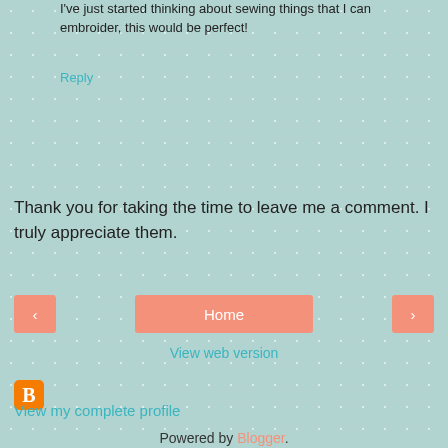I've just started thinking about sewing things that I can embroider, this would be perfect!
Reply
Thank you for taking the time to leave me a comment. I truly appreciate them.
< Home >
View web version
[Figure (logo): Blogger orange square logo icon]
View my complete profile
Powered by Blogger.